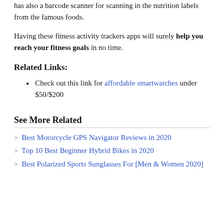has also a barcode scanner for scanning in the nutrition labels from the famous foods.
Having these fitness activity trackers apps will surely help you reach your fitness goals in no time.
Related Links:
Check out this link for affordable smartwatches under $50/$200
See More Related
Best Motorcycle GPS Navigator Reviews in 2020
Top 10 Best Beginner Hybrid Bikes in 2020
Best Polarized Sports Sunglasses For [Men & Women 2020]